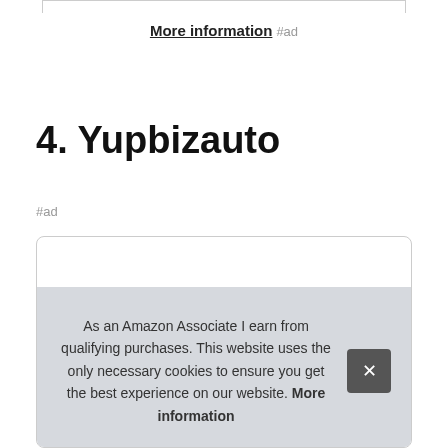More information #ad
4. Yupbizauto
#ad
As an Amazon Associate I earn from qualifying purchases. This website uses the only necessary cookies to ensure you get the best experience on our website. More information